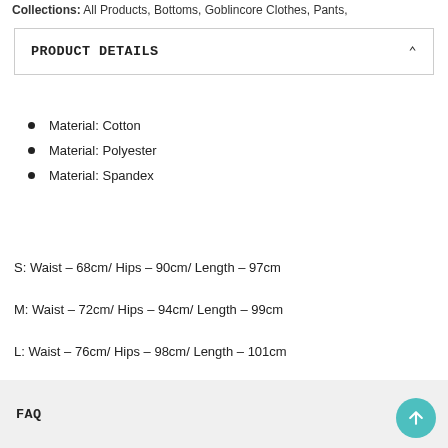Collections: All Products, Bottoms, Goblincore Clothes, Pants,
PRODUCT DETAILS
Material: Cotton
Material: Polyester
Material: Spandex
S: Waist – 68cm/ Hips – 90cm/ Length – 97cm
M: Waist – 72cm/ Hips – 94cm/ Length – 99cm
L: Waist – 76cm/ Hips – 98cm/ Length – 101cm
FAQ